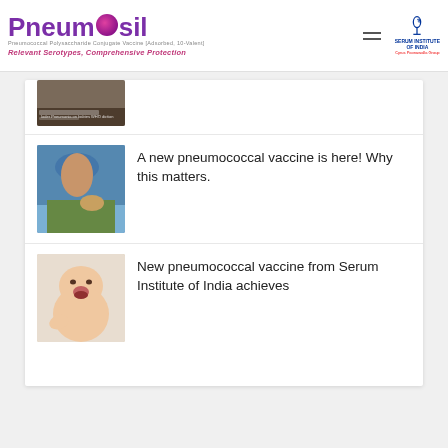[Figure (logo): Pneumosil logo with tagline: Relevant Serotypes, Comprehensive Protection. Serum Institute of India logo on the right.]
[Figure (photo): Partial article thumbnail - healthcare worker with patient]
[Figure (photo): Doctor in blue surgical cap examining something]
A new pneumococcal vaccine is here! Why this matters.
[Figure (photo): Baby/infant photo]
New pneumococcal vaccine from Serum Institute of India achieves